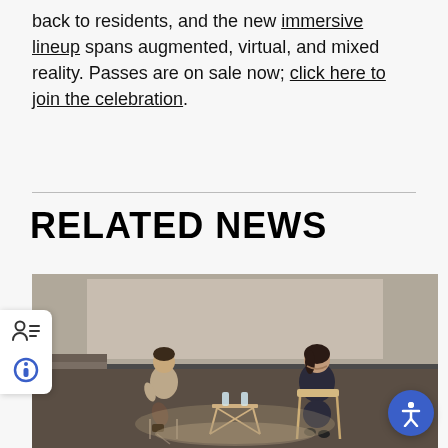back to residents, and the new immersive lineup spans augmented, virtual, and mixed reality. Passes are on sale now; click here to join the celebration.
RELATED NEWS
[Figure (photo): Two people seated in chairs on a stage in a darkened theater or auditorium. The person on the left is wearing a light jacket and leaning forward, while the person on the right is wearing a dark top and smiling. There is a small table between them with water bottles.]